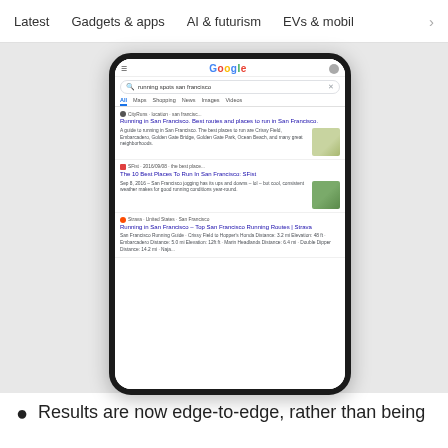Latest   Gadgets & apps   AI & futurism   EVs & mobil  >
[Figure (screenshot): A smartphone mockup showing a Google search results page for 'running spots san francisco', displaying three results: 'Running in San Francisco. Best routes and places to run in San Francisco.' from CityRuns, 'The 10 Best Places To Run In San Francisco: SFist' from SFist, and 'Running in San Francisco – Top San Francisco Running Routes | Strava' from Strava.]
Results are now edge-to-edge, rather than being